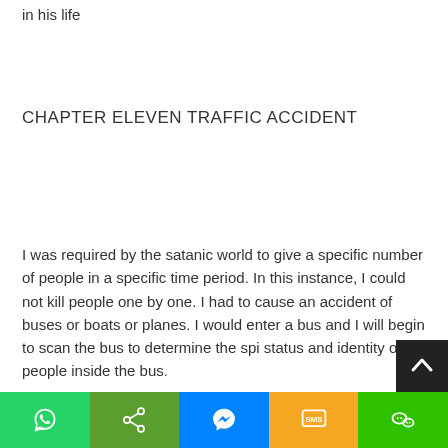in his life
CHAPTER ELEVEN TRAFFIC ACCIDENT
I was required by the satanic world to give a specific number of people in a specific time period. In this instance, I could not kill people one by one. I had to cause an accident of buses or boats or planes. I would enter a bus and I will begin to scan the bus to determine the spi status and identity of people inside the bus.